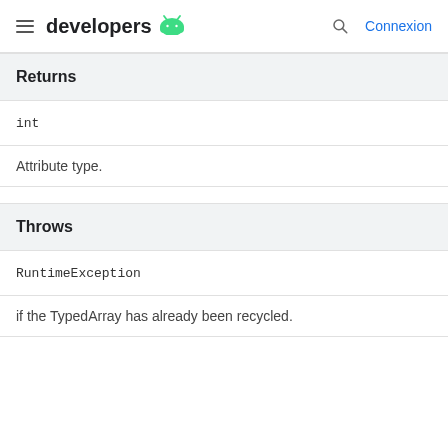developers [Android logo] Connexion
Returns
int
Attribute type.
Throws
RuntimeException
if the TypedArray has already been recycled.